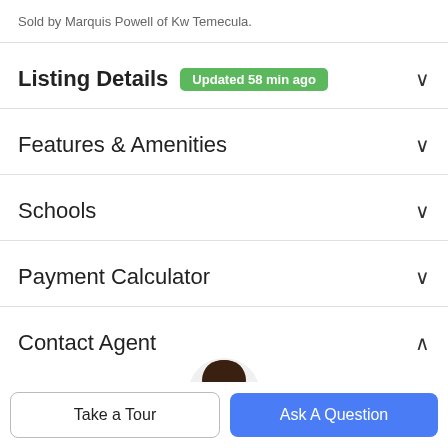Sold by Marquis Powell of Kw Temecula.
Listing Details Updated 58 min ago
Features & Amenities
Schools
Payment Calculator
Contact Agent
[Figure (photo): Agent photo - woman with glasses and dark hair]
Take a Tour
Ask A Question